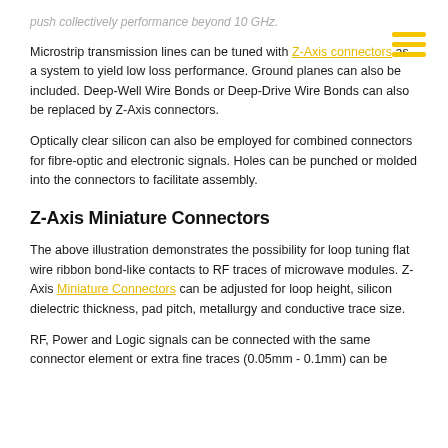push collectively performance beyond 10 GHz.
Microstrip transmission lines can be tuned with Z-Axis connectors as a system to yield low loss performance. Ground planes can also be included. Deep-Well Wire Bonds or Deep-Drive Wire Bonds can also be replaced by Z-Axis connectors.
Optically clear silicon can also be employed for combined connectors for fibre-optic and electronic signals. Holes can be punched or molded into the connectors to facilitate assembly.
Z-Axis Miniature Connectors
The above illustration demonstrates the possibility for loop tuning flat wire ribbon bond-like contacts to RF traces of microwave modules. Z-Axis Miniature Connectors can be adjusted for loop height, silicon dielectric thickness, pad pitch, metallurgy and conductive trace size.
RF, Power and Logic signals can be connected with the same connector element or extra fine traces (0.05mm - 0.1mm) can be